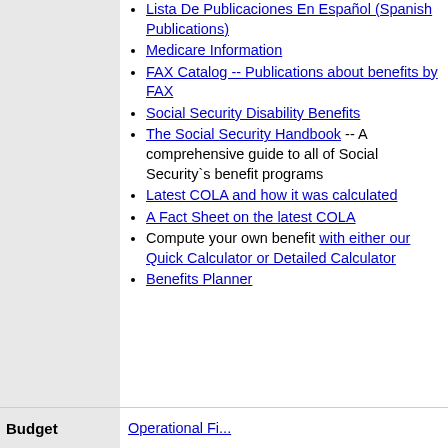Lista De Publicaciones En Español (Spanish Publications)
Medicare Information
FAX Catalog -- Publications about benefits by FAX
Social Security Disability Benefits
The Social Security Handbook -- A comprehensive guide to all of Social Security`s benefit programs
Latest COLA and how it was calculated
A Fact Sheet on the latest COLA
Compute your own benefit with either our Quick Calculator or Detailed Calculator
Benefits Planner
Budget